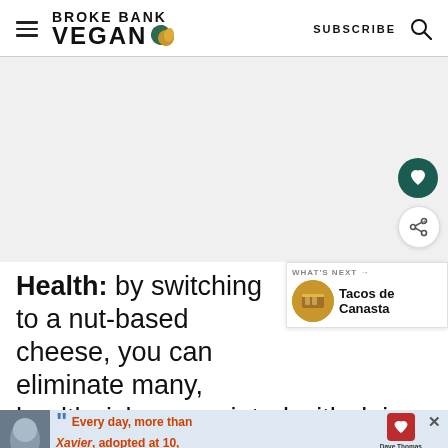BROKE BANK VEGAN | SUBSCRIBE
[Figure (screenshot): Large hero image area, mostly white/light grey, occupying the middle section of the page]
Health: by switching to a nut-based cheese, you can eliminate many, health risks associated with dairy,
[Figure (infographic): WHAT'S NEXT → Tacos de Canasta popup overlay with thumbnail]
[Figure (infographic): Advertisement banner: Every day, more than Xavier, adopted at 10, 50 youth age out of - Dave Thomas Foundation for Adoption]